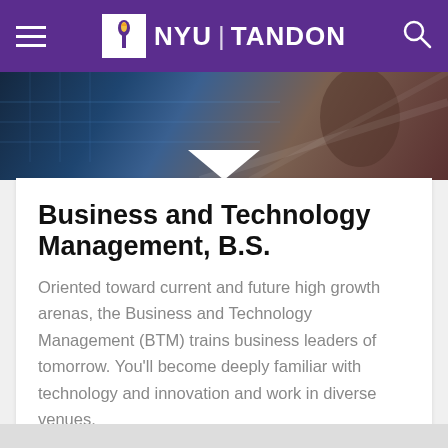NYU TANDON
[Figure (photo): Hero banner image showing a person working with technology, dark blue and brown tones with grid overlay]
Business and Technology Management, B.S.
Oriented toward current and future high growth arenas, the Business and Technology Management (BTM) trains business leaders of tomorrow. You’ll become deeply familiar with technology and innovation and work in diverse venues.